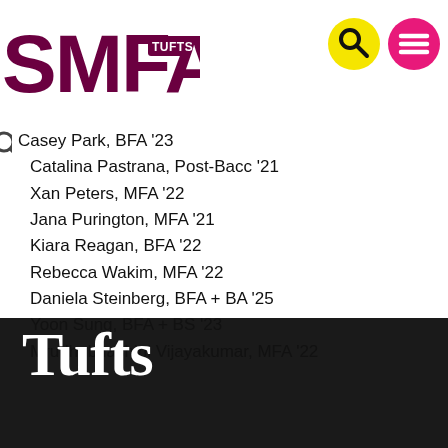SMFA TUFTS
Casey Park, BFA '23
Catalina Pastrana, Post-Bacc '21
Xan Peters, MFA '22
Jana Purington, MFA '21
Kiara Reagan, BFA '22
Rebecca Wakim, MFA '22
Daniela Steinberg, BFA + BA '25
Yoon Sung, BFA + BS '23
Mrudhubhashini Vijayakumar, MFA '22
Tufts